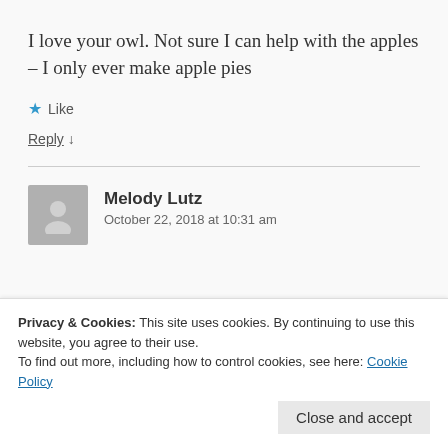I love your owl. Not sure I can help with the apples – I only ever make apple pies
★ Like
Reply ↓
Melody Lutz
October 22, 2018 at 10:31 am
Privacy & Cookies: This site uses cookies. By continuing to use this website, you agree to their use.
To find out more, including how to control cookies, see here: Cookie Policy
Close and accept
buttercream for my mother's 85th birthday...It